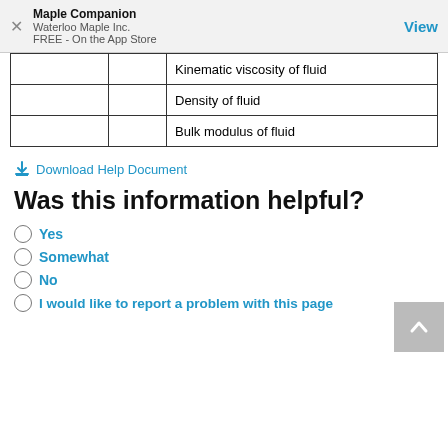Maple Companion
Waterloo Maple Inc.
FREE - On the App Store
|  |  |  |
| --- | --- | --- |
|  |  | Kinematic viscosity of fluid |
|  |  | Density of fluid |
|  |  | Bulk modulus of fluid |
↓ Download Help Document
Was this information helpful?
Yes
Somewhat
No
I would like to report a problem with this page